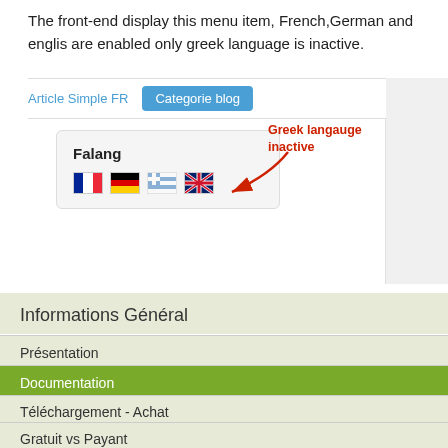The front-end display this menu item, French,German and englis are enabled only greek language is inactive.
[Figure (screenshot): Screenshot showing a navigation bar with 'Article Simple FR' link and 'Categorie blog' blue button, a Falang widget box with French, German, Greek (faded/inactive), and UK flags, and a red annotation arrow pointing to the Greek flag labeled 'Greek langauge inactive'. A sidebar panel is visible on the right.]
Informations Général
Présentation
Documentation
Téléchargement - Achat
Gratuit vs Payant